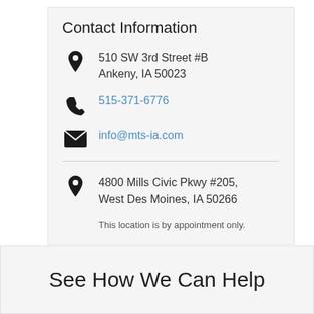Contact Information
510 SW 3rd Street #B
Ankeny, IA 50023
515-371-6776
info@mts-ia.com
4800 Mills Civic Pkwy #205, West Des Moines, IA 50266
This location is by appointment only.
See How We Can Help